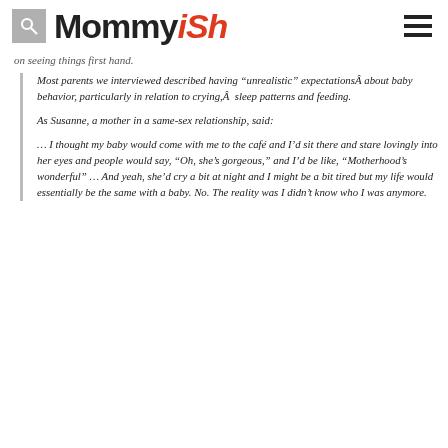Mommyish
on seeing things first hand.
Most parents we interviewed described having “unrealistic” expectations about baby behavior, particularly in relation to crying,  sleep patterns and feeding.
As Susanne, a mother in a same-sex relationship, said:
… I thought my baby would come with me to the café and I’d sit there and stare lovingly into her eyes and people would say, “Oh, she’s gorgeous,” and I’d be like, “Motherhood’s wonderful” … And yeah, she’d cry a bit at night and I might be a bit tired but my life would essentially be the same with a baby. No. The reality was I didn’t know who I was anymore.